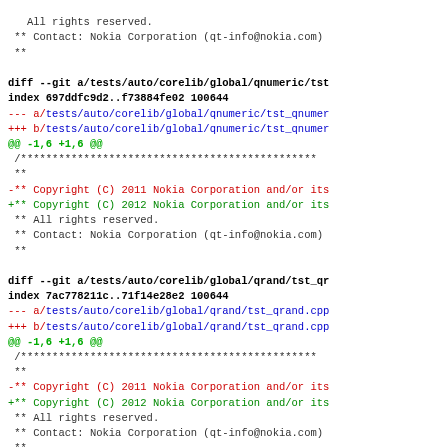All rights reserved.
 ** Contact: Nokia Corporation (qt-info@nokia.com)
 **
diff --git a/tests/auto/corelib/global/qnumeric/tst...
index 697ddfc9d2..f73884fe02 100644
--- a/tests/auto/corelib/global/qnumeric/tst_qnumer...
+++ b/tests/auto/corelib/global/qnumeric/tst_qnumer...
@@ -1,6 +1,6 @@
 /***...
 **
 -** Copyright (C) 2011 Nokia Corporation and/or its...
 +** Copyright (C) 2012 Nokia Corporation and/or its...
  ** All rights reserved.
  ** Contact: Nokia Corporation (qt-info@nokia.com)
  **
diff --git a/tests/auto/corelib/global/qrand/tst_qr...
index 7ac778211c..71f14e28e2 100644
--- a/tests/auto/corelib/global/qrand/tst_qrand.cpp...
+++ b/tests/auto/corelib/global/qrand/tst_qrand.cpp...
@@ -1,6 +1,6 @@
 /***...
 **
 -** Copyright (C) 2011 Nokia Corporation and/or its...
 +** Copyright (C) 2012 Nokia Corporation and/or its...
  ** All rights reserved.
  ** Contact: Nokia Corporation (qt-info@nokia.com)
  **
diff --git a/tests/auto/corelib/io/qabstractfileeng...